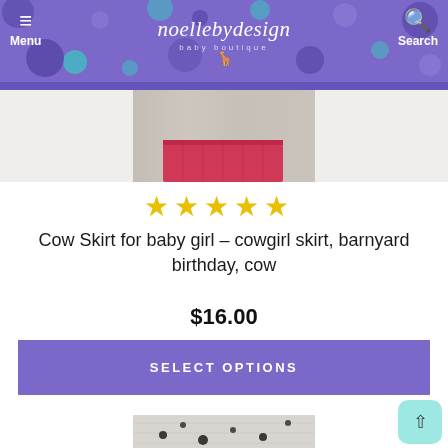[Figure (screenshot): Mobile website header for 'noellebydesign baby boutique' with purple/teal polka dot background, hamburger menu icon on left, logo in center, search icon on right]
[Figure (photo): Partial product photo showing bottom of a cow-print skirt item on a wooden background]
[Figure (illustration): Five yellow star rating icons]
Cow Skirt for baby girl - cowgirl skirt, barnyard birthday, cow
$16.00
[Figure (screenshot): Purple 'SELECT OPTIONS' button]
[Figure (photo): Partial product photo of a dalmatian-themed baby outfit set with white onesie saying 'woof', leg warmers, bow headband, and shoes on a wooden background]